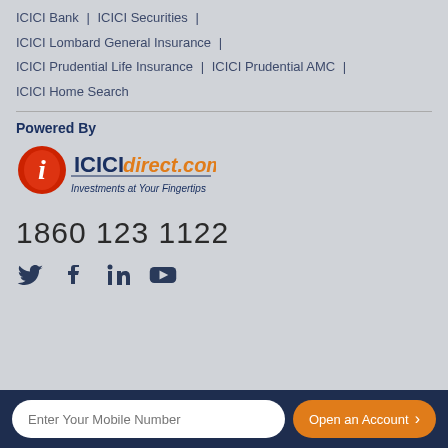ICICI Bank | ICICI Securities | ICICI Lombard General Insurance | ICICI Prudential Life Insurance | ICICI Prudential AMC | ICICI Home Search
Powered By
[Figure (logo): ICICI direct.com logo with tagline 'Investments at Your Fingertips']
1860 123 1122
[Figure (other): Social media icons: Twitter, Facebook, LinkedIn, YouTube]
Enter Your Mobile Number
Open an Account